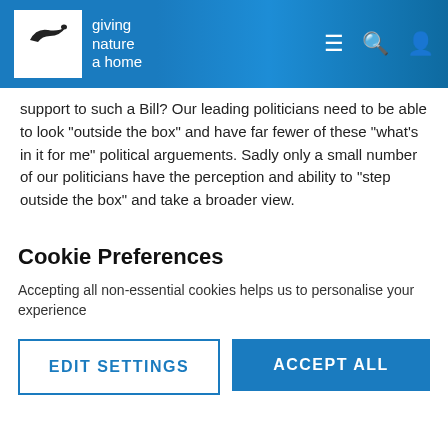[Figure (logo): RSPB logo with bird silhouette and tagline 'giving nature a home' in white header bar with navigation icons]
support to such a Bill? Our leading politicians need to be able to look "outside the box" and have far fewer of these "what's in it for me" political arguements. Sadly only a small number of our politicians have the perception and ability to "step outside the box" and take a broader view.
^ 0 v
Cookie Preferences
Accepting all non-essential cookies helps us to personalise your experience
EDIT SETTINGS
ACCEPT ALL